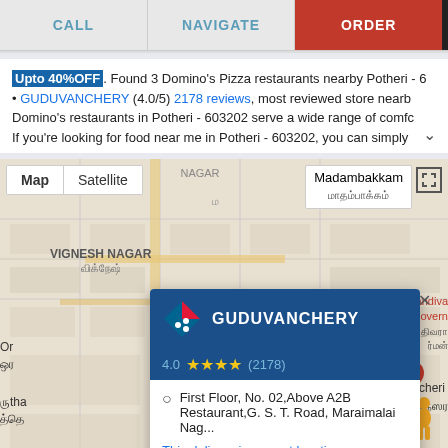[Figure (screenshot): Action buttons: CALL, NAVIGATE, ORDER]
Upto 40%OFF. Found 3 Domino's Pizza restaurants nearby Potheri - 6
• GUDUVANCHERY (4.0/5) 2178 reviews, most reviewed store nearby
Domino's restaurants in Potheri - 603202 serve a wide range of comfc
If you're looking for food near me in Potheri - 603202, you can simply
[Figure (map): Google Maps view showing Guduvanchery Domino's location with popup card showing store name, rating 4.0 stars (2178 reviews), address: First Floor, No. 02, Above A2B Restaurant, G. S. T. Road, Maraimalai Nag..., phone: 1800 208 1234]
GUDUVANCHERY
4.0 ★★★★ (2178)
First Floor, No. 02,Above A2B Restaurant,G. S. T. Road, Maraimalai Nag...
This delivers in current location
1800 208 1234